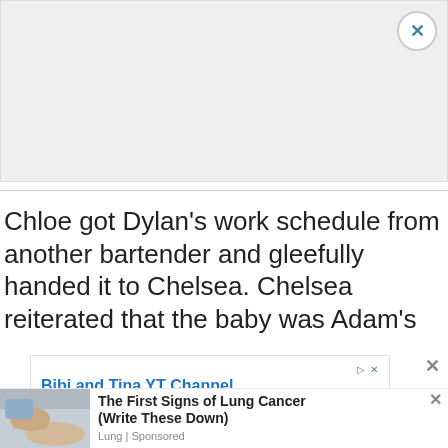[Figure (other): Gray placeholder advertisement banner at top of page with close (X) button in top right corner]
Chloe got Dylan's work schedule from another bartender and gleefully handed it to Chelsea. Chelsea reiterated that the baby was Adam's
[Figure (other): Inline advertisement for Bibi and Tina YT Channel. Text: 'The Official Bibi & Tina YouTube Channel. A new adventure will be uploaded every thursday!']
[Figure (other): Bottom advertisement: 'The First Signs of Lung Cancer (Write These Down)' sponsored by Lung, with a medical photo of a hand examining a leg/ankle on the left side]